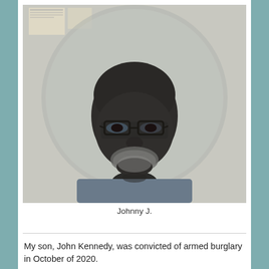[Figure (photo): Photograph of a middle-aged Black man with glasses and a gray beard, wearing a blue shirt, photographed against an institutional background with a large circular mirror or fixture behind him.]
Johnny J.
My son, John Kennedy, was convicted of armed burglary in October of 2020.
Please allow me to tell you a bit about John.  He was my first-born child, born October 30, 1992.  John was a very